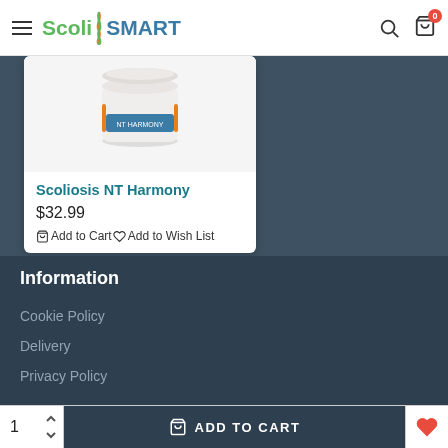ScoliSMART
[Figure (photo): Product image of Scoliosis NT Harmony cream/lotion container, white jar with orange and blue label, partially cropped at top]
Scoliosis NT Harmony
$32.99
Add to Cart  Add to Wish List
Information
Cookie Policy
Delivery
Privacy Policy
1  ADD TO CART